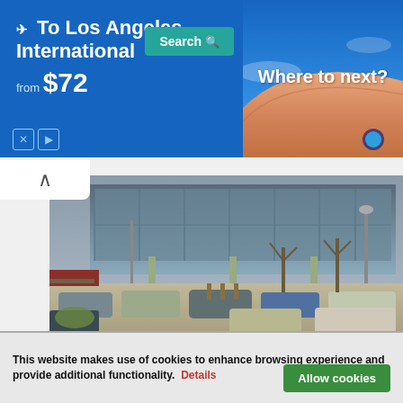[Figure (screenshot): Advertisement banner: blue background with text '✈ To Los Angeles International from $72' and a green Search button, alongside a photo of an airplane wing with text 'Where to next?']
[Figure (photo): Photo of XXXLutz furniture store exterior with large glass facade and parking lot with cars in front]
XXXLutz takes over Slovenia's largest furniture retailer
The furniture store XXXLutz recently took over Slovenia's largest furniture retailer Lesnina.
September 10, 2010
This website makes use of cookies to enhance browsing experience and provide additional functionality.  Details